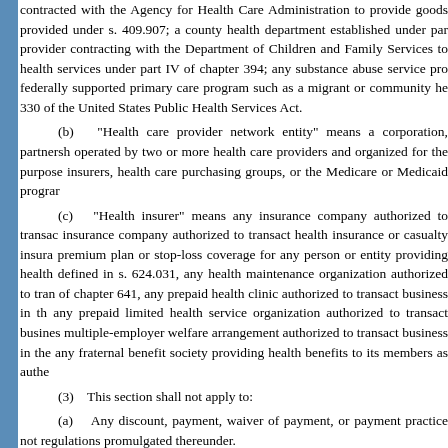contracted with the Agency for Health Care Administration to provide goods provided under s. 409.907; a county health department established under part; provider contracting with the Department of Children and Family Services to health services under part IV of chapter 394; any substance abuse service pro federally supported primary care program such as a migrant or community he 330 of the United States Public Health Services Act.
(b) "Health care provider network entity" means a corporation, partnership operated by two or more health care providers and organized for the purpose insurers, health care purchasing groups, or the Medicare or Medicaid program
(c) "Health insurer" means any insurance company authorized to transact insurance company authorized to transact health insurance or casualty insura premium plan or stop-loss coverage for any person or entity providing health defined in s. 624.031, any health maintenance organization authorized to tran of chapter 641, any prepaid health clinic authorized to transact business in th any prepaid limited health service organization authorized to transact busines multiple-employer welfare arrangement authorized to transact business in the any fraternal benefit society providing health benefits to its members as authe
(3)    This section shall not apply to:
(a)    Any discount, payment, waiver of payment, or payment practice not regulations promulgated thereunder.
(b)    Any payment, compensation, or financial arrangement within a grou provided such payment, compensation, or arrangement is not to or from pers practice.